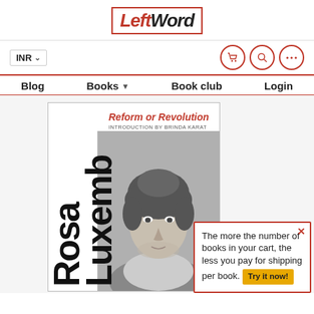[Figure (logo): LeftWord Books logo — red bordered box with italic bold text 'Left' in red and 'Word' in black]
INR
[Figure (infographic): Navigation icons: shopping cart, search, and ellipsis in red circles]
Blog   Books ▾   Book club   Login
[Figure (photo): Book cover of 'Reform or Revolution' by Rosa Luxemburg with introduction by Brinda Karat. Cover shows a black-and-white portrait of Rosa Luxemburg. Title 'Rosa Luxemb...' in large vertical bold black text.]
The more the number of books in your cart, the less you pay for shipping per book. Try it now!